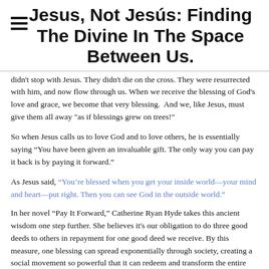Jesus, Not Jesús: Finding The Divine In The Space Between Us.
didn't stop with Jesus. They didn't die on the cross. They were resurrected with him, and now flow through us. When we receive the blessing of God's love and grace, we become that very blessing.  And we, like Jesus, must give them all away "as if blessings grew on trees!"
So when Jesus calls us to love God and to love others, he is essentially saying “You have been given an invaluable gift. The only way you can pay it back is by paying it forward."
As Jesus said, “You’re blessed when you get your inside world—your mind and heart—put right. Then you can see God in the outside world.”
In her novel "Pay It Forward," Catherine Ryan Hyde takes this ancient wisdom one step further. She believes it's our obligation to do three good deeds to others in repayment for one good deed we receive. By this measure, one blessing can spread exponentially through society, creating a social movement so powerful that it can redeem and transform the entire world. This seems right up Jesus' alley, don't you think?